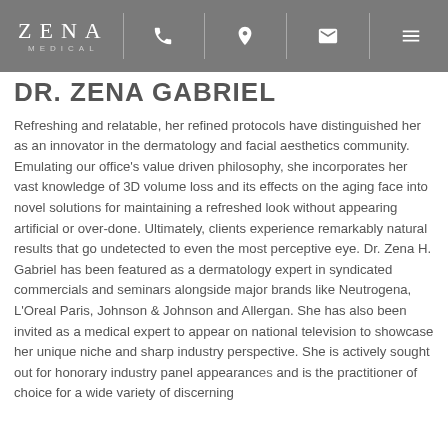ZENA MEDICAL — navigation bar with phone, location, email, and menu icons
DR. ZENA GABRIEL
Refreshing and relatable, her refined protocols have distinguished her as an innovator in the dermatology and facial aesthetics community. Emulating our office's value driven philosophy, she incorporates her vast knowledge of 3D volume loss and its effects on the aging face into novel solutions for maintaining a refreshed look without appearing artificial or over-done. Ultimately, clients experience remarkably natural results that go undetected to even the most perceptive eye. Dr. Zena H. Gabriel has been featured as a dermatology expert in syndicated commercials and seminars alongside major brands like Neutrogena, L'Oreal Paris, Johnson & Johnson and Allergan. She has also been invited as a medical expert to appear on national television to showcase her unique niche and sharp industry perspective. She is actively sought out for honorary industry panel appearances and is the practitioner of choice for a wide variety of discerning